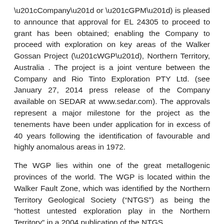“Company” or “GPM”) is pleased to announce that approval for EL 24305 to proceed to grant has been obtained; enabling the Company to proceed with exploration on key areas of the Walker Gossan Project (“WGP”), Northern Territory, Australia . The project is a joint venture between the Company and Rio Tinto Exploration PTY Ltd. (see January 27, 2014 press release of the Company available on SEDAR at www.sedar.com). The approvals represent a major milestone for the project as the tenements have been under application for in excess of 40 years following the identification of favourable and highly anomalous areas in 1972.
The WGP lies within one of the great metallogenic provinces of the world. The WGP is located within the Walker Fault Zone, which was identified by the Northern Territory Geological Society (“NTGS”) as being the “hottest untested exploration play in the Northern Territory” in a 2004 publication of the NTGS.
http://www.nt.gov.au/d/Minerals_Energy/Geoscience/Content/File
Included within the North Australian Zinc Province; which currently provides 30% of the world zinc production, are a number of significant silver, lead, zinc and copper deposits;  including the